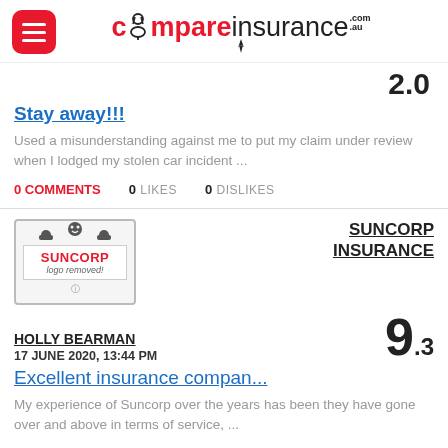compareinsurance.com.au
2.0
Stay away!!!
Used a misunderstanding against me to put my claim under review when I lodged my stolen car incident ...
0 COMMENTS   0 LIKES   0 DISLIKES
[Figure (logo): Suncorp logo placeholder with text 'SUNCORP logo removed!']
SUNCORP INSURANCE
HOLLY BEARMAN
17 JUNE 2020, 13:44 PM
9.3
Excellent insurance compan...
My experience of Suncorp over the years has been they have gone over and above in terms of service, ...